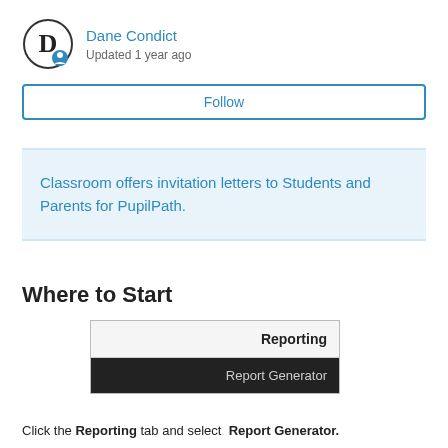Dane Condict
Updated 1 year ago
Follow
Classroom offers invitation letters to Students and Parents for PupilPath.
Where to Start
[Figure (screenshot): Screenshot of a UI menu showing 'Reporting' tab with 'Report Generator' selected below it in dark background]
Click the Reporting tab and select  Report Generator.